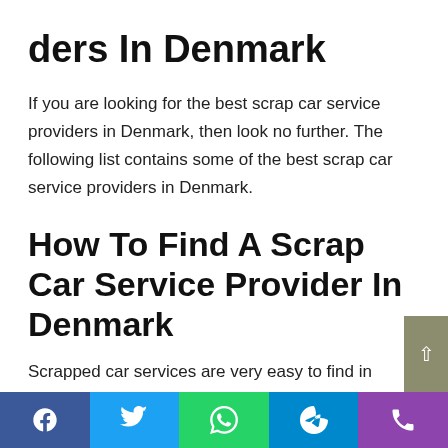ders In Denmark
If you are looking for the best scrap car service providers in Denmark, then look no further. The following list contains some of the best scrap car service providers in Denmark.
How To Find A Scrap Car Service Provider In Denmark
Scrapped car services are very easy to find in Denmark. You will just have to choose the right one and ask them to do your car cleaning job.
When it comes to finding a scrap car Skrotpriser service
Facebook Twitter WhatsApp Telegram Phone